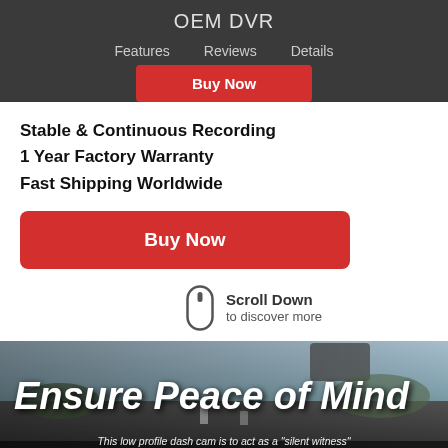OEM DVR
Features   Reviews   Details
Buy Now
Stable & Continuous Recording
1 Year Factory Warranty
Fast Shipping Worldwide
Buy Now
Scroll Down to discover more
[Figure (photo): Car interior dashboard view with driver hands on wheel, rearview mirror visible, road ahead. Bold italic white text overlay reads 'Ensure Peace of Mind'. Italic caption below: 'This low profile dash cam is to act as a "silent witness" in the event of any accidents. It is designed to carefully and accurately record every detail that takes place on the road.']